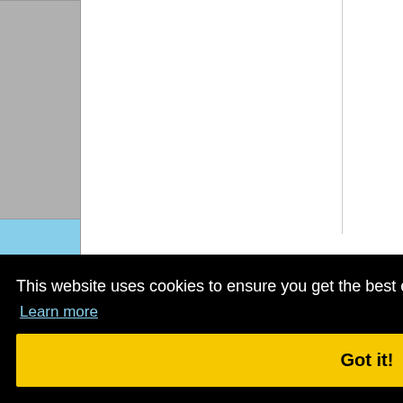| Col1 | Col2 | Col3 | Name | Years | Col6 |
| --- | --- | --- | --- | --- | --- |
| E6005 | 73005 | - | Mid-Hants Watercress Line | 1988-1993 |  |
| E6006 | 73006 | 73906 | - | - |  |
| E6007 | 73101 | 73100 | Brighton Evening | 1980-1992 1992- |  |
|  |  |  |  | 1985-1997 |  |
|  |  |  |  | - |  |
|  |  |  |  | - |  |
This website uses cookies to ensure you get the best experience on our website.
Learn more
Got it!